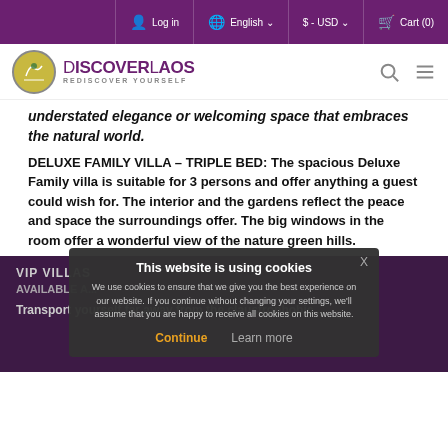Log in | English | $ - USD | Cart (0)
[Figure (logo): DiscoverLaos - Rediscover Yourself logo with circular emblem]
understated elegance or welcoming space that embraces the natural world.
DELUXE FAMILY VILLA – TRIPLE BED: The spacious Deluxe Family villa is suitable for 3 persons and offer anything a guest could wish for. The interior and the gardens reflect the peace and space the surroundings offer. The big windows in the room offer a wonderful view of the nature green hills.
VIP VILLAS
AVAILABLE A...
Transport yourself far away from the claustrophobic...
This website is using cookies
We use cookies to ensure that we give you the best experience on our website. If you continue without changing your settings, we'll assume that you are happy to receive all cookies on this website.
Continue  Learn more